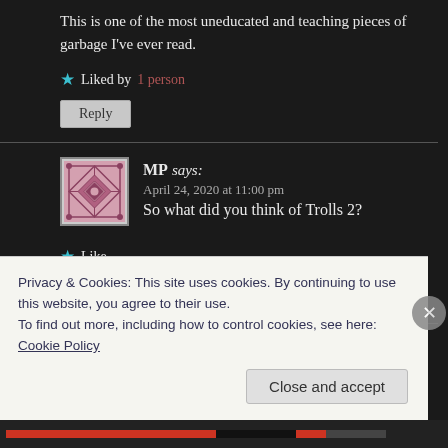This is one of the most uneducated and teaching pieces of garbage I've ever read.
★ Liked by 1 person
Reply
MP says:
April 24, 2020 at 11:00 pm
So what did you think of Trolls 2?
★ Like
Reply
Privacy & Cookies: This site uses cookies. By continuing to use this website, you agree to their use.
To find out more, including how to control cookies, see here:
Cookie Policy
Close and accept